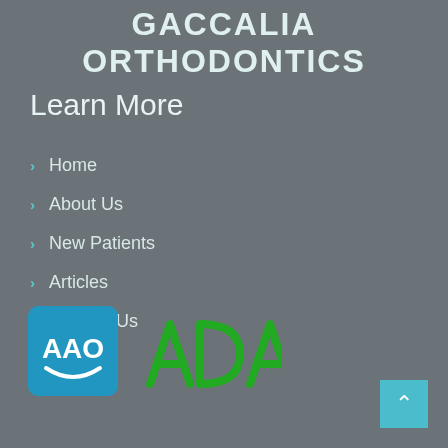GACCALIA ORTHODONTICS
Learn More
Home
About Us
New Patients
Articles
Contact Us
[Figure (logo): AAO logo - blue square with white AAO text and smile arc]
[Figure (logo): ADA logo - green stylized ADA text]